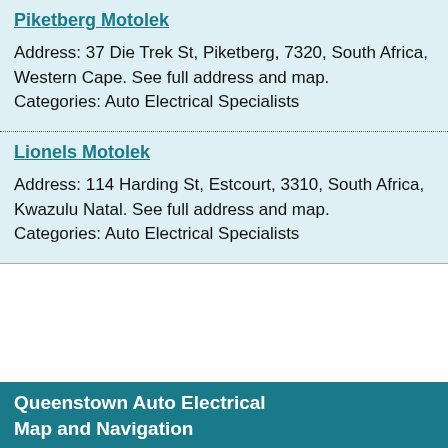Piketberg Motolek
Address: 37 Die Trek St, Piketberg, 7320, South Africa, Western Cape. See full address and map.
Categories: Auto Electrical Specialists
Lionels Motolek
Address: 114 Harding St, Estcourt, 3310, South Africa, Kwazulu Natal. See full address and map.
Categories: Auto Electrical Specialists
Queenstown Auto Electrical
Map and Navigation